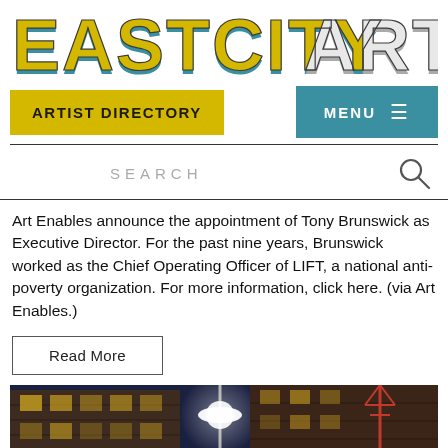EASTCITYART
ARTIST DIRECTORY
MENU
SEARCH
Art Enables announce the appointment of Tony Brunswick as Executive Director. For the past nine years, Brunswick worked as the Chief Operating Officer of LIFT, a national anti-poverty organization. For more information, click here. (via Art Enables.)
Read More
[Figure (photo): Nighttime photo of urban brick buildings with street lamp and crane or tower structure visible]